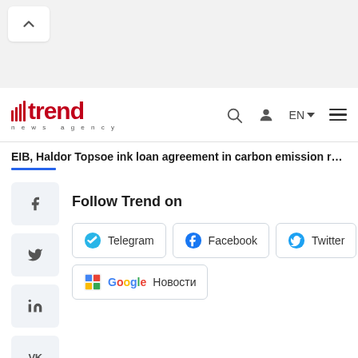[Figure (screenshot): Top gray bar with back/up chevron button]
trend news agency — EN — navigation bar with search, user, language, and menu icons
EIB, Haldor Topsoe ink loan agreement in carbon emission r...
[Figure (infographic): Social media share sidebar with Facebook, Twitter, LinkedIn, VK, and Odnoklassniki icons]
Follow Trend on
[Figure (infographic): Follow Trend on social media buttons: Telegram, Facebook, Twitter, Google Новости]